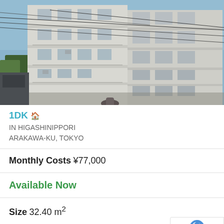[Figure (photo): Exterior photo of a multi-story white concrete apartment building in Tokyo, photographed from street level at an angle. Blue sky visible, utility wires crossing the scene.]
1DK 🏠 IN HIGASHINIPPORI ARAKAWA-KU, TOKYO
Monthly Costs ¥77,000
Available Now
Size 32.40 m²
Deposit ¥72,000